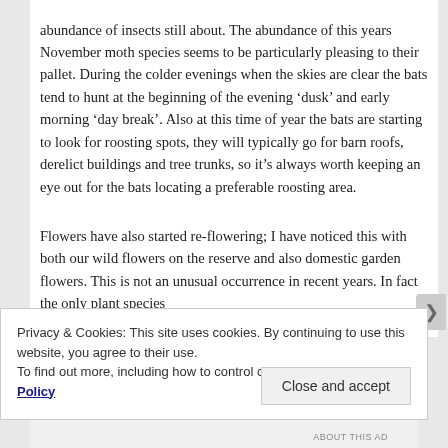Bats are also still out hunting, making the most of the abundance of insects still about. The abundance of this years November moth species seems to be particularly pleasing to their pallet. During the colder evenings when the skies are clear the bats tend to hunt at the beginning of the evening ‘dusk’ and early morning ‘day break’. Also at this time of year the bats are starting to look for roosting spots, they will typically go for barn roofs, derelict buildings and tree trunks, so it’s always worth keeping an eye out for the bats locating a preferable roosting area.
Flowers have also started re-flowering; I have noticed this with both our wild flowers on the reserve and also domestic garden flowers. This is not an unusual occurrence in recent years. In fact the only plant species
Privacy & Cookies: This site uses cookies. By continuing to use this website, you agree to their use.
To find out more, including how to control cookies, see here: Cookie Policy